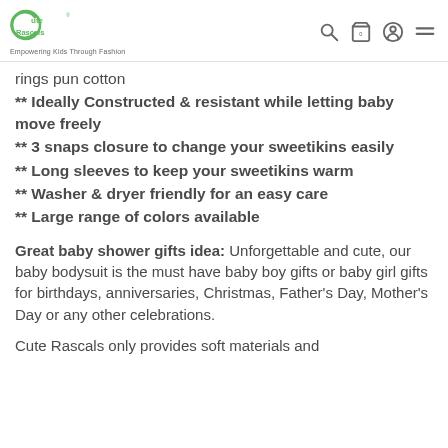Cute Rascals — Empowering Kids Through Fashion
rings pun cotton
** Ideally Constructed & resistant while letting baby move freely
** 3 snaps closure to change your sweetikins easily
** Long sleeves to keep your sweetikins warm
** Washer & dryer friendly for an easy care
** Large range of colors available
Great baby shower gifts idea: Unforgettable and cute, our baby bodysuit is the must have baby boy gifts or baby girl gifts for birthdays, anniversaries, Christmas, Father's Day, Mother's Day or any other celebrations.
Cute Rascals only provides soft materials and